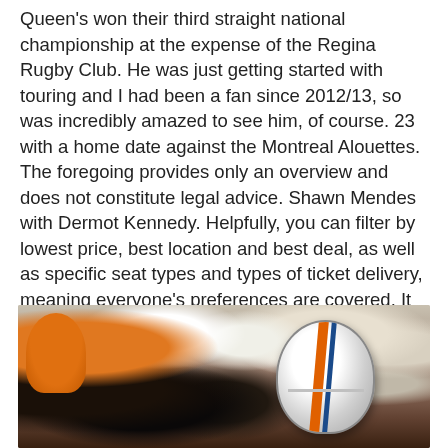Queen's won their third straight national championship at the expense of the Regina Rugby Club. He was just getting started with touring and I had been a fan since 2012/13, so was incredibly amazed to see him, of course. 23 with a home date against the Montreal Alouettes. The foregoing provides only an overview and does not constitute legal advice. Shawn Mendes with Dermot Kennedy. Helpfully, you can filter by lowest price, best location and best deal, as well as specific seat types and types of ticket delivery, meaning everyone's preferences are covered. It looks like Javascript is disabled. Read our Cookie Policy. The Tennessee singer/songwriter has had a string of successful singers on the Country charts whilst his latest album 'Crash My Party' topped the US Billboard album charts.
[Figure (photo): A blurred crowd scene showing people wearing orange and white, with a close-up American football helmet in the foreground on the right side featuring orange and blue/dark stripes on a white helmet.]